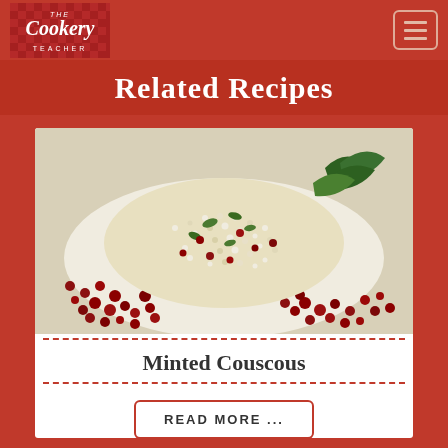The Cookery Teacher
Related Recipes
[Figure (photo): A dish of minted couscous served on a white plate, surrounded by pomegranate seeds with fresh mint leaves garnish]
Minted Couscous
READ MORE ...